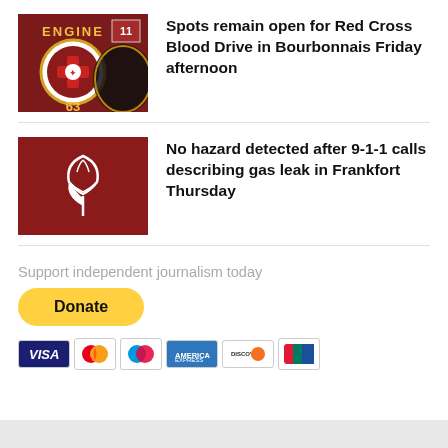[Figure (photo): Fire engine thumbnail showing 'ENGINE 63' badge with fire department insignia on dark red truck]
Spots remain open for Red Cross Blood Drive in Bourbonnais Friday afternoon
[Figure (illustration): Dark red square with white line art icon of a gas/hazard symbol]
No hazard detected after 9-1-1 calls describing gas leak in Frankfort Thursday
Support independent journalism today
[Figure (other): Yellow PayPal Donate button followed by payment method icons: Visa, Mastercard, Maestro, American Express, Discover, UnionPay]